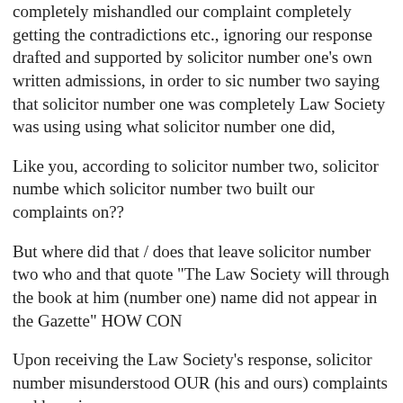completely mishandled our complaint completely getting the contradictions etc., ignoring our response drafted and supported by solicitor number one's own written admissions, in order to side with number two saying that solicitor number one was completely right. The Law Society was using using what solicitor number one did,
Like you, according to solicitor number two, solicitor number one, which solicitor number two built our complaints on??
But where did that / does that leave solicitor number two who said and that quote "The Law Society will through the book at him" and (number one) name did not appear in the Gazette" HOW CON
Upon receiving the Law Society's response, solicitor number misunderstood OUR (his and ours) complaints and have igno
He therefore himself sent our complaint to the Ombudsman ( than the Law Society and that she will contact him for his res
What solicitor number two did not tell us was, as you know, the Law Society handles complaints. So we have been led up the
Therefore in our case despite the Law Society having all thei